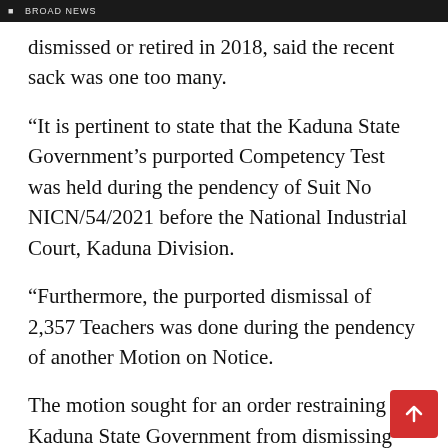BROAD NEWS
dismissed or retired in 2018, said the recent sack was one too many.
“It is pertinent to state that the Kaduna State Government’s purported Competency Test was held during the pendency of Suit No NICN/54/2021 before the National Industrial Court, Kaduna Division.
“Furthermore, the purported dismissal of 2,357 Teachers was done during the pendency of another Motion on Notice.
The motion sought for an order restraining the Kaduna State Government from dismissing any teacher in the Public schools in Kaduna State fo…